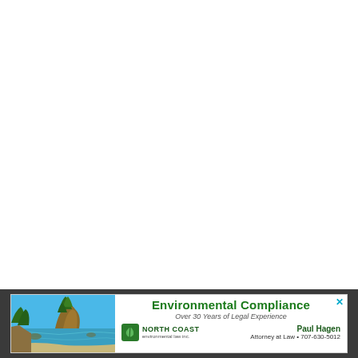[Figure (infographic): Advertisement banner for North Coast Environmental Law Inc. Shows a coastal landscape photo on the left, with text 'Environmental Compliance', 'Over 30 Years of Legal Experience', North Coast logo, and contact info for Paul Hagen, Attorney at Law, 707-630-5012]